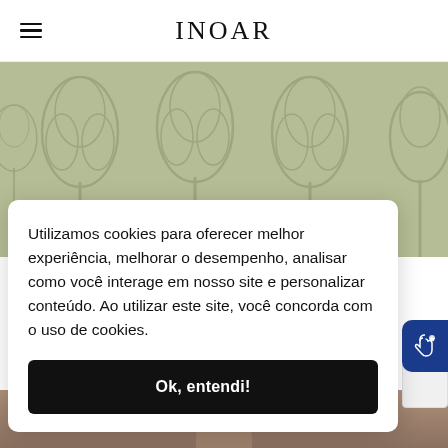INOAR
[Figure (illustration): Green background section with tree/nature pattern and product title 'Tonic Tag']
Tonic Tag
Utilizamos cookies para oferecer melhor experiência, melhorar o desempenho, analisar como você interage em nosso site e personalizar conteúdo. Ao utilizar este site, você concorda com o uso de cookies.
Ok, entendi!
[Figure (illustration): Partial photo of a person at the bottom of the page]